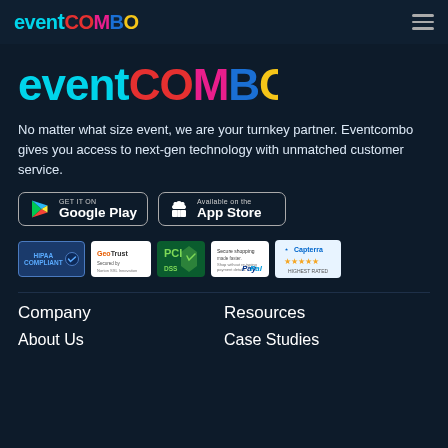eventcombo (logo) + hamburger menu
[Figure (logo): Eventcombo logo large, colorful text: event in cyan, C in red, O in red, M in magenta, B in blue, O in yellow]
No matter what size event, we are your turnkey partner. Eventcombo gives you access to next-gen technology with unmatched customer service.
[Figure (infographic): Two app store download buttons: GET IT ON Google Play and Available on the App Store]
[Figure (infographic): Trust badges row: HIPAA Compliant, GeoTrust, PCI DSS, PayPal secure, Capterra Highest Rated]
Company
Resources
About Us
Case Studies